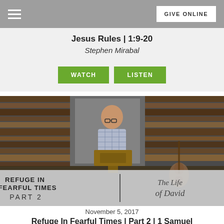GIVE ONLINE
Jesus Rules | 1:9-20
Stephen Mirabal
WATCH   LISTEN
[Figure (photo): A speaker (Stephen Mirabal) standing at a wooden podium in a church setting with a wood-paneled background. An acoustic guitar is visible to the right. An overlay banner reads: REFUGE IN FEARFUL TIMES PART 2 | The Life of David]
November 5, 2017
Refuge In Fearful Times | Part 2 | 1 Samuel